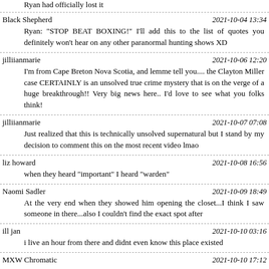Ryan had officially lost it
Black Shepherd	2021-10-04 13:34
Ryan: "STOP BEAT BOXING!" I'll add this to the list of quotes you definitely won't hear on any other paranormal hunting shows XD
jilliianmarie	2021-10-06 12:20
I'm from Cape Breton Nova Scotia, and lemme tell you.... the Clayton Miller case CERTAINLY is an unsolved true crime mystery that is on the verge of a huge breakthrough!! Very big news here.. I'd love to see what you folks think!
jilliianmarie	2021-10-07 07:08
Just realized that this is technically unsolved supernatural but I stand by my decision to comment this on the most recent video lmao
liz howard	2021-10-08 16:56
when they heard "important" I heard "warden"
Naomi Sadler	2021-10-09 18:49
At the very end when they showed him opening the closet...I think I saw someone in there...also I couldn't find the exact spot after
ill jan	2021-10-10 03:16
i live an hour from there and didnt even know this place existed
MXW Chromatic	2021-10-10 17:12